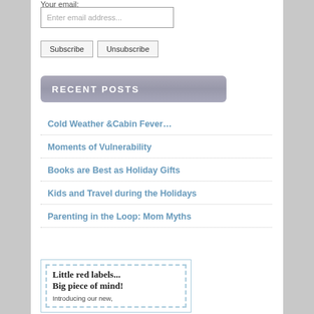Your email:
Enter email address...
Subscribe | Unsubscribe
RECENT POSTS
Cold Weather &Cabin Fever…
Moments of Vulnerability
Books are Best as Holiday Gifts
Kids and Travel during the Holidays
Parenting in the Loop: Mom Myths
[Figure (screenshot): Advertisement box with dashed border containing text: Little red labels... Big piece of mind! Introducing our new,]